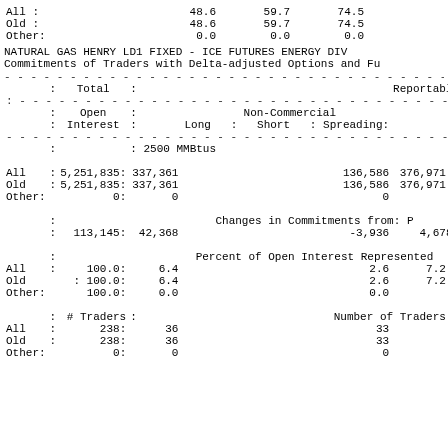| All : |  | 48.6 | 59.7 | 74.5 |
| Old : |  | 48.6 | 59.7 | 74.5 |
| Other: |  | 0.0 | 0.0 | 0.0 |
NATURAL GAS HENRY LD1 FIXED - ICE FUTURES ENERGY DIV
Commitments of Traders with Delta-adjusted Options and Fu
| : Total : |  |  |  | Reportable Posit |
| --- | --- | --- | --- | --- |
|  | : Open : |  | Non-Commercial | : | Co |
|  | : Interest : | Long : | Short : | Spreading: | Long |
|  |  | : 2500 MMBtus |  |  |  |
| All | : 5,251,835: | 337,361 | 136,586 | 376,971 | 4,508, |
| Old | : 5,251,835: | 337,361 | 136,586 | 376,971 | 4,508, |
| Other: | 0: | 0 | 0 | 0 |  |
|  |  |  | Changes in Commitments from: P |  |  |
|  | : 113,145: | 42,368 | -3,936 | 4,678 | 69, |
|  |  |  | Percent of Open Interest Represented |  |  |
| All : | 100.0: | 6.4 | 2.6 | 7.2 | 8 |
| Old | : 100.0: | 6.4 | 2.6 | 7.2 | 8 |
| Other: | 100.0: | 0.0 | 0.0 | 0.0 |  |
|  | :# Traders : |  | Number of Traders in Each |  |  |
| All : | 238: | 36 | 33 | 50 |  |
| Old : | 238: | 36 | 33 | 50 |  |
| Other: | 0: | 0 | 0 | 0 |  |